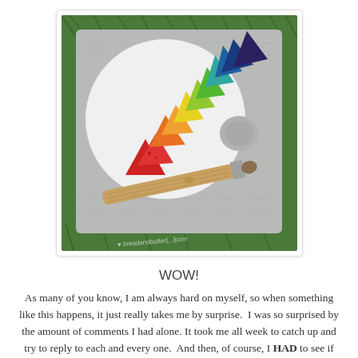[Figure (photo): A quilted mini art piece resembling a painter's palette placed on grass. The quilt features a large white circle on a gray background, with colorful triangular fabric pieces arranged in a rainbow arc (red, orange, yellow, green, teal, dark blue, navy/purple). A tan/beige fabric paintbrush extends diagonally across the lower portion. A watermark reads 'breadandbuttter[something].com' at the bottom.]
WOW!
As many of you know, I am always hard on myself, so when something like this happens, it just really takes me by surprise.  I was so surprised by the amount of comments I had alone. It took me all week to catch up and try to reply to each and every one.  And then, of course, I HAD to see if they entered something too...  because that is what those